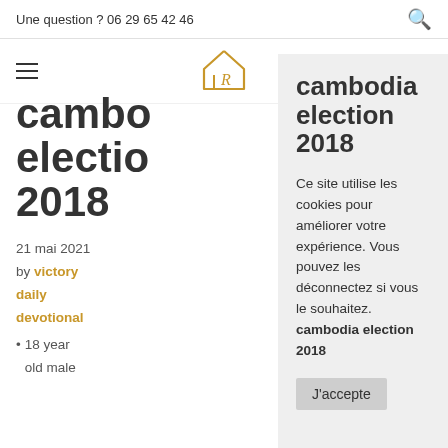Une question ? 06 29 65 42 46
[Figure (logo): House-shaped logo with letter R inside, golden outline]
cambodia election 2018
21 mai 2021
by victory daily devotional
• 18 year old male
cambodia election 2018
Ce site utilise les cookies pour améliorer votre expérience. Vous pouvez les déconnectez si vous le souhaitez. cambodia election 2018
J'accepte